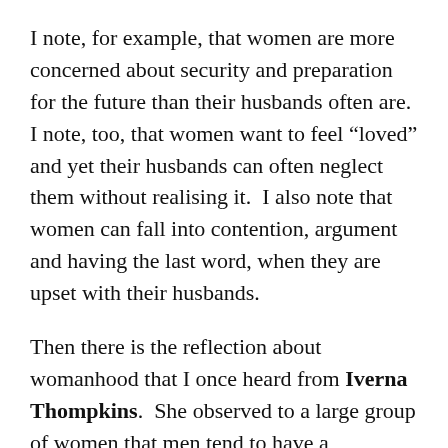I note, for example, that women are more concerned about security and preparation for the future than their husbands often are.  I note, too, that women want to feel “loved” and yet their husbands can often neglect them without realising it.  I also note that women can fall into contention, argument and having the last word, when they are upset with their husbands.
Then there is the reflection about womanhood that I once heard from Iverna Thompkins.  She observed to a large group of women that men tend to have a pigeonhole for everything – from work, to the kids, to the car, wife, dog, etc.  A man can therefore shut off to his unhappy thoughts or feelings about work (or some other issue) when he faces something that is not in that pigeonhole, such